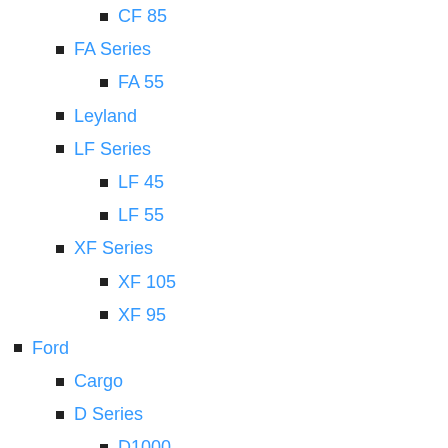CF 85
FA Series
FA 55
Leyland
LF Series
LF 45
LF 55
XF Series
XF 105
XF 95
Ford
Cargo
D Series
D1000
F53 Motorhome
F59 Commercial
Low Cab Forward
Freightliner
Business Class Models